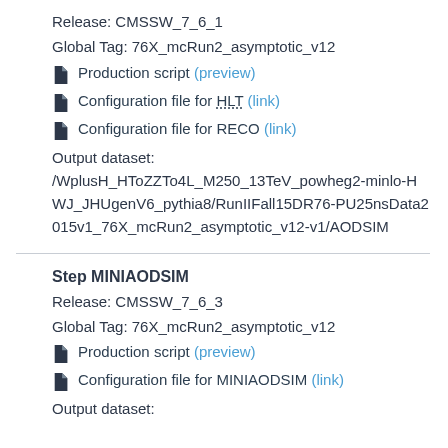Release: CMSSW_7_6_1
Global Tag: 76X_mcRun2_asymptotic_v12
Production script (preview)
Configuration file for HLT (link)
Configuration file for RECO (link)
Output dataset: /WplusH_HToZZTo4L_M250_13TeV_powheg2-minlo-HWJ_JHUgenV6_pythia8/RunIIFall15DR76-PU25nsData2015v1_76X_mcRun2_asymptotic_v12-v1/AODSIM
Step MINIAODSIM
Release: CMSSW_7_6_3
Global Tag: 76X_mcRun2_asymptotic_v12
Production script (preview)
Configuration file for MINIAODSIM (link)
Output dataset: